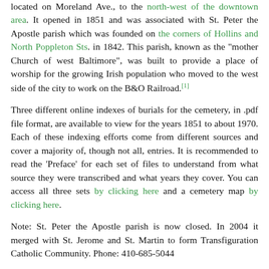located on Moreland Ave., to the north-west of the downtown area. It opened in 1851 and was associated with St. Peter the Apostle parish which was founded on the corners of Hollins and North Poppleton Sts. in 1842. This parish, known as the "mother Church of west Baltimore", was built to provide a place of worship for the growing Irish population who moved to the west side of the city to work on the B&O Railroad.[1]
Three different online indexes of burials for the cemetery, in .pdf file format, are available to view for the years 1851 to about 1970. Each of these indexing efforts come from different sources and cover a majority of, though not all, entries. It is recommended to read the 'Preface' for each set of files to understand from what source they were transcribed and what years they cover. You can access all three sets by clicking here and a cemetery map by clicking here.
Note: St. Peter the Apostle parish is now closed. In 2004 it merged with St. Jerome and St. Martin to form Transfiguration Catholic Community. Phone: 410-685-5044